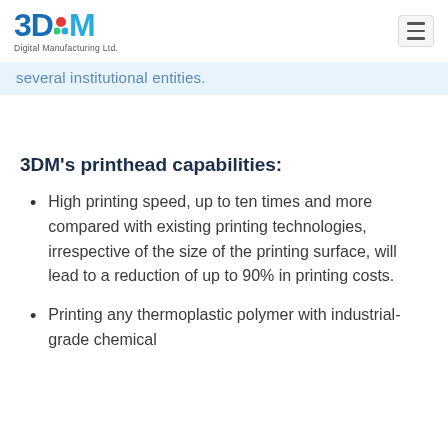3DM Digital Manufacturing Ltd.
several institutional entities.
3DM's printhead capabilities:
High printing speed, up to ten times and more compared with existing printing technologies, irrespective of the size of the printing surface, will lead to a reduction of up to 90% in printing costs.
Printing any thermoplastic polymer with industrial-grade chemical...